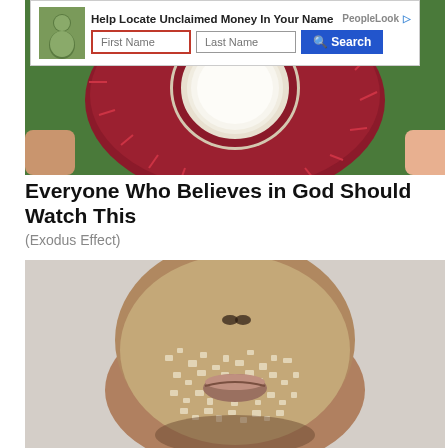[Figure (screenshot): Advertisement banner: Help Locate Unclaimed Money In Your Name, PeopleLookup, with First Name and Last Name input fields and a Search button. First Name field has a red border.]
[Figure (photo): Close-up photo of a rambutan fruit being held open, showing red spiky exterior and white inner flesh, with green background.]
Everyone Who Believes in God Should Watch This
(Exodus Effect)
[Figure (photo): Close-up photo of a person's face covered in white crystals or salt/sugar, showing nose, lips, and chin area on a light grey background.]